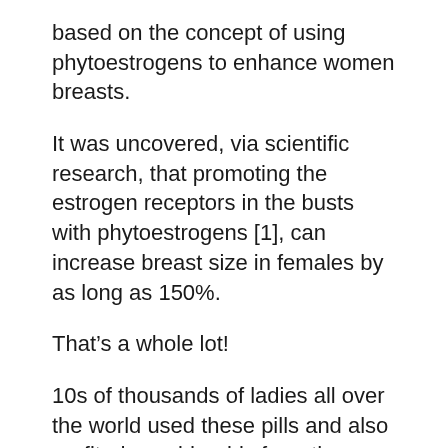based on the concept of using phytoestrogens to enhance women breasts.
It was uncovered, via scientific research, that promoting the estrogen receptors in the busts with phytoestrogens [1], can increase breast size in females by as long as 150%.
That’s a whole lot!
10s of thousands of ladies all over the world used these pills and also profited considerably from them.
At the same time, all-natural breast enhancement, making use of natural essences, happened identified by the media